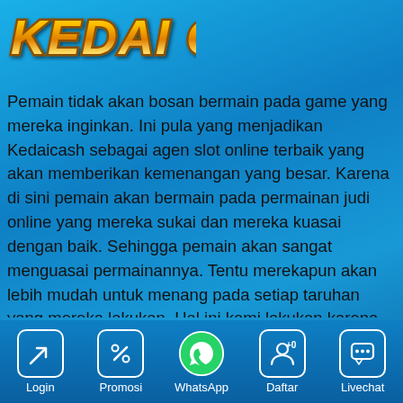[Figure (logo): KEDAI CASH logo in gold italic bold text on blue background]
Pemain tidak akan bosan bermain pada game yang mereka inginkan. Ini pula yang menjadikan Kedaicash sebagai agen slot online terbaik yang akan memberikan kemenangan yang besar. Karena di sini pemain akan bermain pada permainan judi online yang mereka sukai dan mereka kuasai dengan baik. Sehingga pemain akan sangat menguasai permainannya. Tentu merekapun akan lebih mudah untuk menang pada setiap taruhan yang mereka lakukan. Hal ini kami lakukan karena kami sangat paham dengan apa yang dibutuhkan pemain. Kami sediakan kumpulan permainan judi online terbaik dan terpopuler di dunia. Pemain akan dimanjakan
Login | Promosi | WhatsApp | Daftar | Livechat